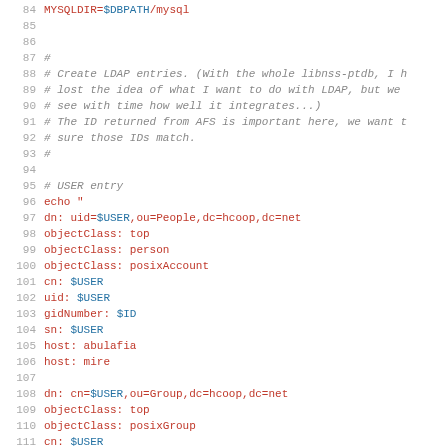[Figure (screenshot): Source code listing showing shell script lines 84-115 with line numbers, mix of comments in gray italic and code in red/blue on white background]